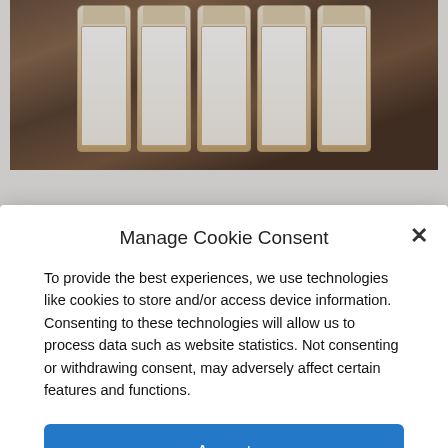[Figure (photo): Prescription pill/medicine bottles arranged on a surface, viewed from above at an angle, showing white labels with red caps]
Manage Cookie Consent
×
To provide the best experiences, we use technologies like cookies to store and/or access device information. Consenting to these technologies will allow us to process data such as website statistics. Not consenting or withdrawing consent, may adversely affect certain features and functions.
Accept
Cookie Policy  Privacy Policy
Will you vote for Republican
[Figure (screenshot): Social share bar at the bottom with Add (+), Facebook (f), Twitter (bird), Link (chain), and Email (envelope) buttons]